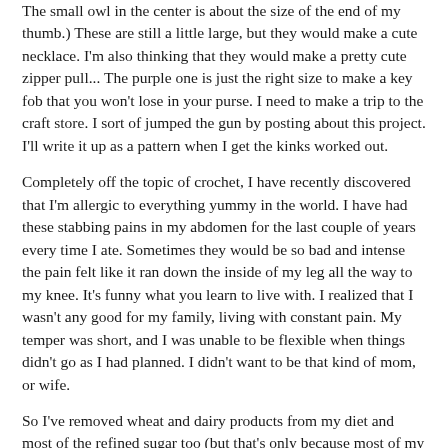The small owl in the center is about the size of the end of my thumb.)  These are still a little large, but they would make a cute necklace.  I'm also thinking that they would make a pretty cute zipper pull...  The purple one is just the right size to make a key fob that you won't lose in your purse.  I need to make a trip to the craft store.  I sort of jumped the gun by posting about this project.  I'll write it up as a pattern when I get the kinks worked out.
Completely off the topic of crochet, I have recently discovered that I'm allergic to everything yummy in the world.  I have had these stabbing pains in my abdomen for the last couple of years every time I ate.  Sometimes they would be so bad and intense the pain felt like it ran down the inside of my leg all the way to my knee.  It's funny what you learn to live with.  I realized that I wasn't any good for my family, living with constant pain.  My temper was short, and I was unable to be flexible when things didn't go as I had planned.  I didn't want to be that kind of mom, or wife.
So I've removed wheat and dairy products from my diet and most of the refined sugar too (but that's only because most of my sugar was eaten with wheat and dairy... mmm, cookies...).  If you were wondering, the first few days were not fun.  But now that it's been a few weeks, I'm finding it's not so rough.  Most products being t...